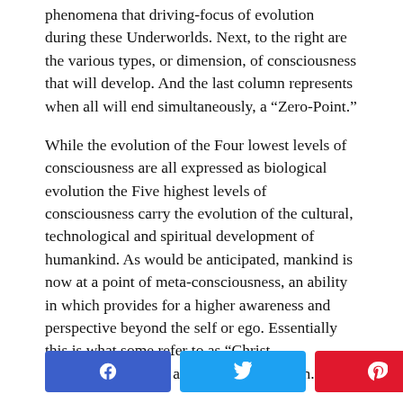phenomena that driving-focus of evolution during these Underworlds. Next, to the right are the various types, or dimension, of consciousness that will develop. And the last column represents when all will end simultaneously, a “Zero-Point.”
While the evolution of the Four lowest levels of consciousness are all expressed as biological evolution the Five highest levels of consciousness carry the evolution of the cultural, technological and spiritual development of humankind. As would be anticipated, mankind is now at a point of meta-consciousness, an ability in which provides for a higher awareness and perspective beyond the self or ego. Essentially this is what some refer to as “Christ Consciousness”, or, a fully attuned human.
[Figure (infographic): Social sharing bar with Facebook (blue), Twitter (blue), Pinterest (red) buttons and a share count of 0 SHARES]